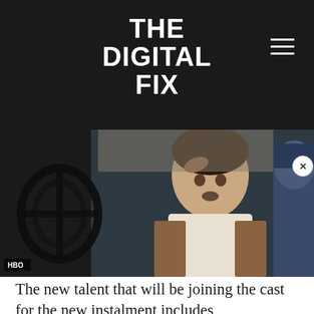THE DIGITAL FIX
[Figure (photo): A woman in period costume (Victorian/Edwardian era) looking with a concerned expression, standing in front of ornate ironwork. A person in military uniform is visible at the right edge. HBO watermark at bottom left. An ad overlay for The Mandalorian Season 3 Release Date is partially covering the lower right of the image.]
The new talent that will be joining the cast for the new instalment includes Laura... Sean Leonard. Deadline also reported that joining the two, in the second season will be Christopher Denham, David Furr, Ben Lamb, Matilde Lawler, Dekin Mathews, Michael